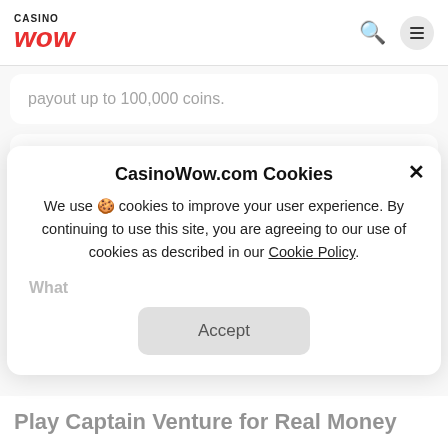Casino WOW
payout up to 100,000 coins.
Who is the provider of this casino game?
Can I play this slot on my mobile device?
CasinoWow.com Cookies
We use 🍪 cookies to improve your user experience. By continuing to use this site, you are agreeing to our use of cookies as described in our Cookie Policy.
What
Accept
Play Captain Venture for Real Money